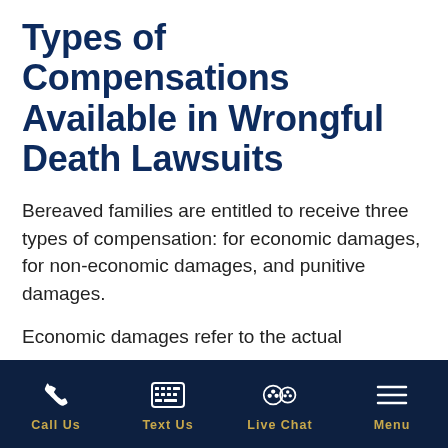Types of Compensations Available in Wrongful Death Lawsuits
Bereaved families are entitled to receive three types of compensation: for economic damages, for non-economic damages, and punitive damages.
Economic damages refer to the actual
Call Us | Text Us | Live Chat | Menu